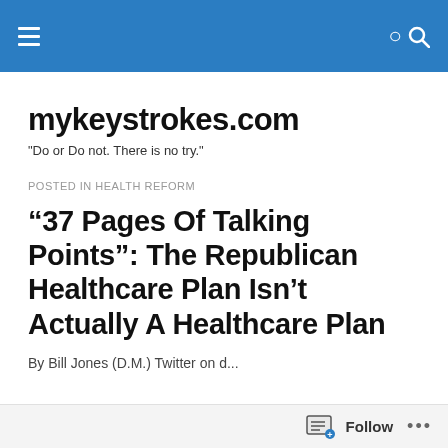mykeystrokes.com [header bar with hamburger menu and search icon]
mykeystrokes.com
"Do or Do not. There is no try."
POSTED IN HEALTH REFORM
“37 Pages Of Talking Points”: The Republican Healthcare Plan Isn’t Actually A Healthcare Plan
By Bill Jones (D.M.) Twitter on the d...